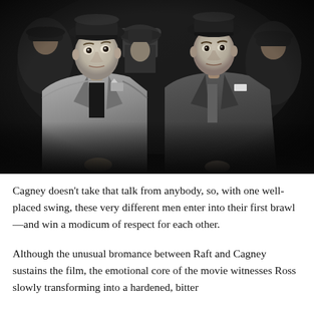[Figure (photo): Black and white film still showing two men in suits and fedora hats seated close together, with other figures visible in the background. The men have serious expressions.]
Cagney doesn't take that talk from anybody, so, with one well-placed swing, these very different men enter into their first brawl—and win a modicum of respect for each other.
Although the unusual bromance between Raft and Cagney sustains the film, the emotional core of the movie witnesses Ross slowly transforming into a hardened, bitter